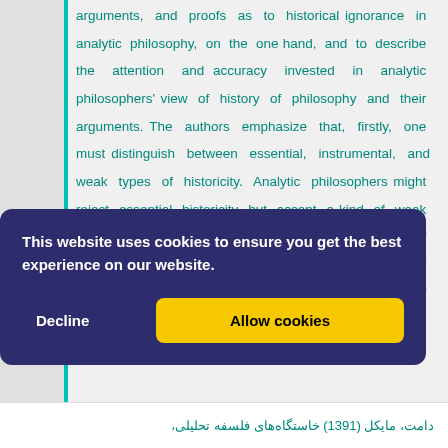arguments, and proofs as to historical ignorance in analytic philosophy, on the one hand, and to describe the attention and accuracy invested in analytic philosophers' view of history of philosophy and their arguments. The authors emphasize that, firstly, one must distinguish between essential, instrumental, and weak types of historicity. Analytic philosophers might reject essential historicity but accept a kind of weak historicity. Secondly, an emphasis on the distinction of the history of philosophical problems from history of philosophy should not be understood in the sense of anti-historicity or
This website uses cookies to ensure you get the best experience on our website.
دامت، مایکل (1391) خاستگاه‌های فلسفه تحلیلی،